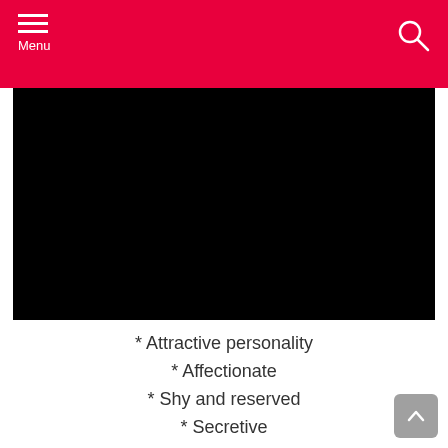Menu
[Figure (photo): Black rectangle image area]
* Attractive personality
* Affectionate
* Shy and reserved
* Secretive
* Naturally honest, generous and sympathetic
* Loves peace and serenity
* Sensitive to others
* Loves to serve others